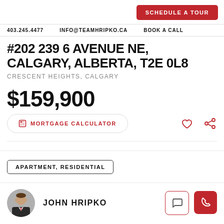SCHEDULE A TOUR
403.245.4477   INFO@TEAMHRIPKO.CA   BOOK A CALL
#202 239 6 AVENUE NE, CALGARY, ALBERTA, T2E 0L8
CRESCENT HEIGHTS, CALGARY
$159,900
MORTGAGE CALCULATOR
APARTMENT, RESIDENTIAL
JOHN HRIPKO
[Figure (photo): Headshot of John Hripko in a suit]